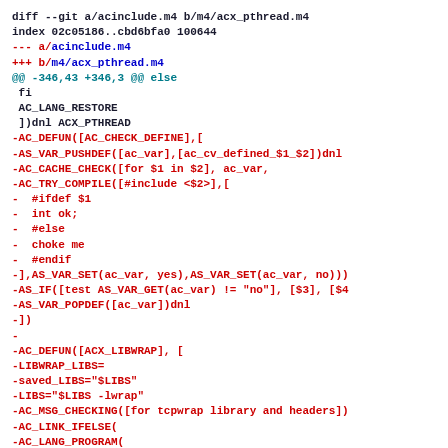diff --git a/acinclude.m4 b/m4/acx_pthread.m4
index 02c05186..cbd6bfa0 100644
--- a/acinclude.m4
+++ b/m4/acx_pthread.m4
@@ -346,43 +346,3 @@ else
 fi
 AC_LANG_RESTORE
 ])dnl ACX_PTHREAD
-AC_DEFUN([AC_CHECK_DEFINE],[
-AS_VAR_PUSHDEF([ac_var],[ac_cv_defined_$1_$2])dnl
-AC_CACHE_CHECK([for $1 in $2], ac_var,
-AC_TRY_COMPILE([#include <$2>],[
-  #ifdef $1
-  int ok;
-  #else
-  choke me
-  #endif
-],AS_VAR_SET(ac_var, yes),AS_VAR_SET(ac_var, no)))
-AS_IF([test AS_VAR_GET(ac_var) != "no"], [$3], [$4
-AS_VAR_POPDEF([ac_var])dnl
-])
-
-AC_DEFUN([ACX_LIBWRAP], [
-LIBWRAP_LIBS=
-saved_LIBS="$LIBS"
-LIBS="$LIBS -lwrap"
-AC_MSG_CHECKING([for tcpwrap library and headers])
-AC_LINK_IFELSE(
-AC_LANG_PROGRAM(
-[#include <tcpd.h>]